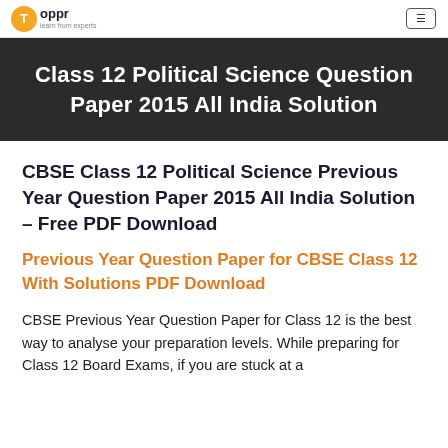learn from experts
Class 12 Political Science Question Paper 2015 All India Solution
CBSE Class 12 Political Science Previous Year Question Paper 2015 All India Solution – Free PDF Download
Previous Year Question Paper for CBSE Class 12 With Solutions PDF Download
CBSE Previous Year Question Paper for Class 12 is the best way to analyse your preparation levels. While preparing for Class 12 Board Exams, if you are stuck at a